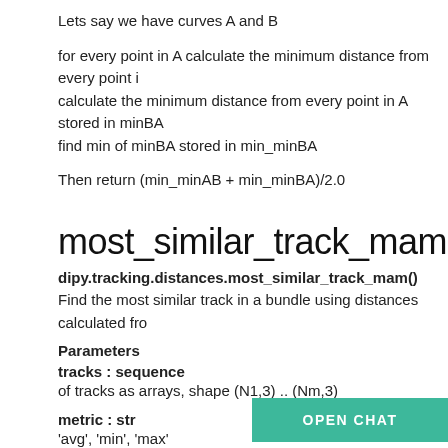Lets say we have curves A and B
for every point in A calculate the minimum distance from every point in B stored in minAB; calculate the minimum distance from every point in A stored in minBA; find min of minBA stored in min_minBA
Then return (min_minAB + min_minBA)/2.0
most_similar_track_mam
dipy.tracking.distances.most_similar_track_mam()
Find the most similar track in a bundle using distances calculated from
Parameters
tracks :  sequence
of tracks as arrays, shape (N1,3) .. (Nm,3)
metric :  str
'avg', 'min', 'max'
Returns